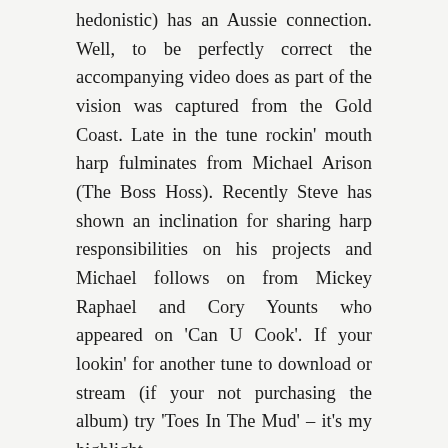hedonistic) has an Aussie connection. Well, to be perfectly correct the accompanying video does as part of the vision was captured from the Gold Coast. Late in the tune rockin' mouth harp fulminates from Michael Arison (The Boss Hoss). Recently Steve has shown an inclination for sharing harp responsibilities on his projects and Michael follows on from Mickey Raphael and Cory Younts who appeared on 'Can U Cook'. If your lookin' for another tune to download or stream (if your not purchasing the album) try 'Toes In The Mud' – it's my highlight.
A couple of additions to previous posts. I've obtained access to three photos of Gene Jimae (thanks to Museum Victoria) and I've included them in the second article on Gene, Gene Genius Returns. The